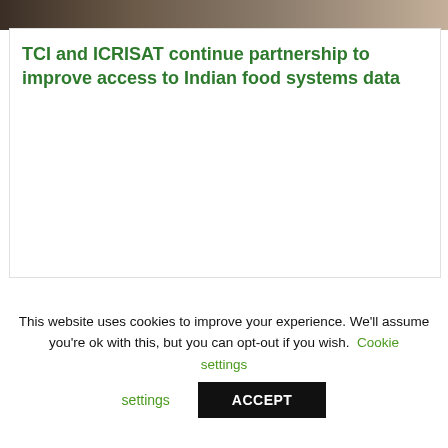[Figure (photo): Top portion of a photo showing people in a meeting or indoor setting, dark/warm tones]
TCI and ICRISAT continue partnership to improve access to Indian food systems data
[Figure (photo): Outdoor photo showing green trees and an Indian flag on a flagpole against a grey sky]
This website uses cookies to improve your experience. We'll assume you're ok with this, but you can opt-out if you wish. Cookie settings ACCEPT